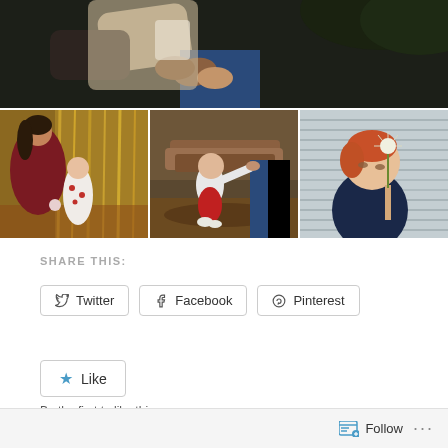[Figure (photo): Top photo spanning full width: close-up of hands/arms of adults holding a child, dark moody outdoor setting]
[Figure (photo): Bottom-left photo: woman and toddler girl with flowers in an autumn outdoor setting]
[Figure (photo): Bottom-center photo: toddler in red pants and white top standing outdoors, held by adult hand]
[Figure (photo): Bottom-right photo: red-haired young boy holding a dandelion flower]
SHARE THIS:
Twitter
Facebook
Pinterest
Like
Be the first to like this.
Follow ...